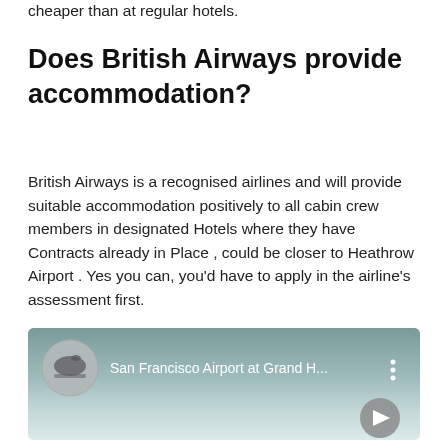cheaper than at regular hotels.
Does British Airways provide accommodation?
British Airways is a recognised airlines and will provide suitable accommodation positively to all cabin crew members in designated Hotels where they have Contracts already in Place , could be closer to Heathrow Airport . Yes you can, you'd have to apply in the airline's assessment first.
[Figure (screenshot): Embedded video thumbnail showing an airplane and the title 'San Francisco Airport at Grand H...' with a play button and three-dot menu icon]